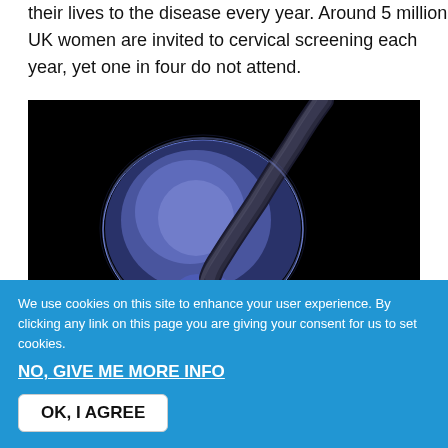their lives to the disease every year. Around 5 million UK women are invited to cervical screening each year, yet one in four do not attend.
[Figure (illustration): Medical 3D illustration of the female reproductive system showing the uterus and cervix on a black background, with a brown mass representing cervical cancer at the bottom of the cervix.]
We use cookies on this site to enhance your user experience. By clicking any link on this page you are giving your consent for us to set cookies.
NO, GIVE ME MORE INFO
OK, I AGREE